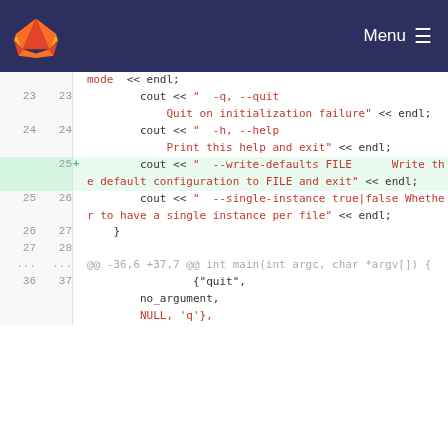[Figure (screenshot): GitLab navigation bar with fox logo and Menu button]
Code diff view showing C++ source code with line numbers. Lines 23-28 show cout statements for help text options. Line 25 is an added line (highlighted green) showing --write-defaults FILE option. Lines 36-37 show struct entries with quit and no_argument.